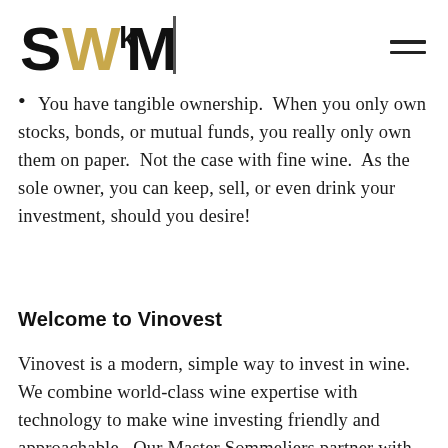[Figure (logo): SWM logo with stylized black S and gold/black WM letters followed by a vertical bar]
You have tangible ownership. When you only own stocks, bonds, or mutual funds, you really only own them on paper. Not the case with fine wine. As the sole owner, you can keep, sell, or even drink your investment, should you desire!
Welcome to Vinovest
Vinovest is a modern, simple way to invest in wine.  We combine world-class wine expertise with technology to make wine investing friendly and approachable. Our Master Sommeliers partner with our unique AI algorithm, which uses thousands of data points to identify the best investment grade wines for your